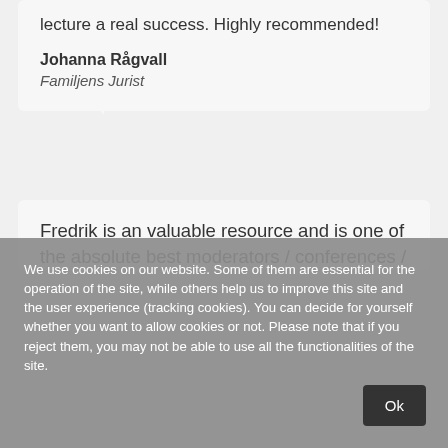lecture a real success. Highly recommended!
Johanna Rågvall
Familjens Jurist
Fredrik is an valuable resource and is one of the absolute best moderators / conferences / lecturers I have hired. In a very short time, he
We use cookies on our website. Some of them are essential for the operation of the site, while others help us to improve this site and the user experience (tracking cookies). You can decide for yourself whether you want to allow cookies or not. Please note that if you reject them, you may not be able to use all the functionalities of the site.